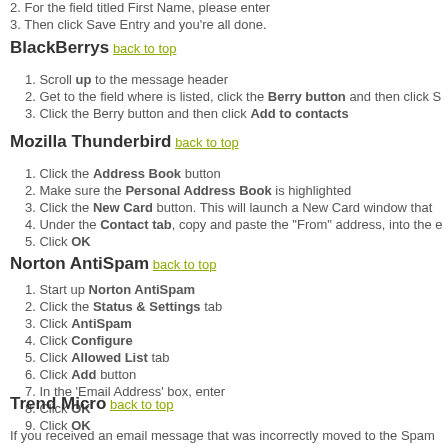2. For the field titled First Name, please enter
3. Then click Save Entry and you're all done.
BlackBerrys back to top
1. Scroll up to the message header
2. Get to the field where is listed, click the Berry button and then click S
3. Click the Berry button and then click Add to contacts
Mozilla Thunderbird back to top
1. Click the Address Book button
2. Make sure the Personal Address Book is highlighted
3. Click the New Card button. This will launch a New Card window that
4. Under the Contact tab, copy and paste the "From" address, into the e
5. Click OK
Norton AntiSpam back to top
1. Start up Norton AntiSpam
2. Click the Status & Settings tab
3. Click AntiSpam
4. Click Configure
5. Click Allowed List tab
6. Click Add button
7. In the 'Email Address' box, enter
8. Click OK
9. Click OK
Trend Micro back to top
If you received an email message that was incorrectly moved to the Spam